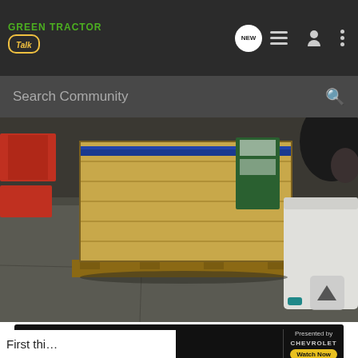Green Tractor Talk — Search Community
[Figure (photo): Warehouse or storage room interior showing a large wooden crate on a pallet with blue strapping, red crates on the left, green equipment in the background, a white plastic storage tub on the right, and a dark concrete floor.]
[Figure (infographic): Advertisement banner: AG Daily 'NEW GROUND' series presented by Chevrolet with 'Watch Now' button.]
First thi...